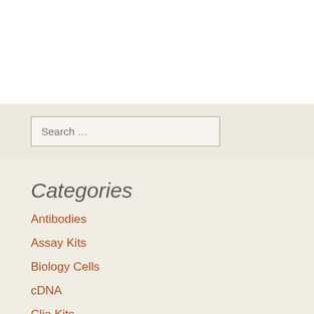[Figure (screenshot): White top area, part of webpage header]
Search …
Categories
Antibodies
Assay Kits
Biology Cells
cDNA
Clia Kits
Culture Cells
DisV-HPV16, versatile and powerful software to detect HPV in RNA sequencing data.